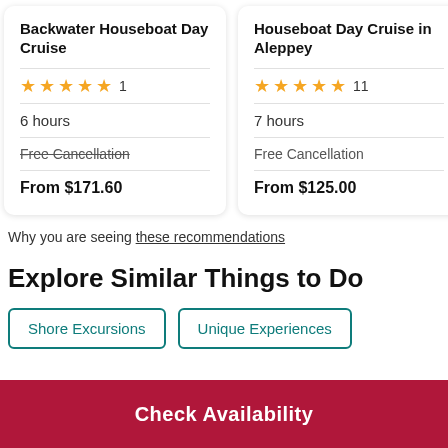Backwater Houseboat Day Cruise
★★★★★ 1 | 6 hours | Free Cancellation (strikethrough) | From $171.60
Houseboat Day Cruise in Aleppey
★★★★★ 11 | 7 hours | Free Cancellation | From $125.00
Herit... Back...
★★ | 7 hou... | Free...
Why you are seeing these recommendations
Explore Similar Things to Do
Shore Excursions
Unique Experiences
Check Availability